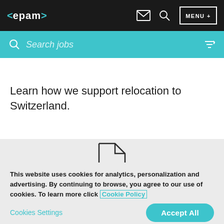<epam> MENU +
Search jobs
Learn how we support relocation to Switzerland.
[Figure (illustration): Outline icon of a document/file with a teal horizontal line at the bottom of the page symbol]
This website uses cookies for analytics, personalization and advertising. By continuing to browse, you agree to our use of cookies. To learn more click Cookie Policy
Cookies Settings
Accept All